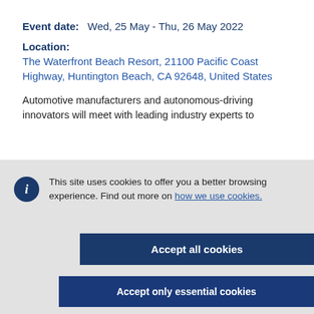Event date:    Wed, 25 May - Thu, 26 May 2022
Location:
The Waterfront Beach Resort, 21100 Pacific Coast Highway, Huntington Beach, CA 92648, United States
Automotive manufacturers and autonomous-driving innovators will meet with leading industry experts to
This site uses cookies to offer you a better browsing experience. Find out more on how we use cookies.
Accept all cookies
Accept only essential cookies